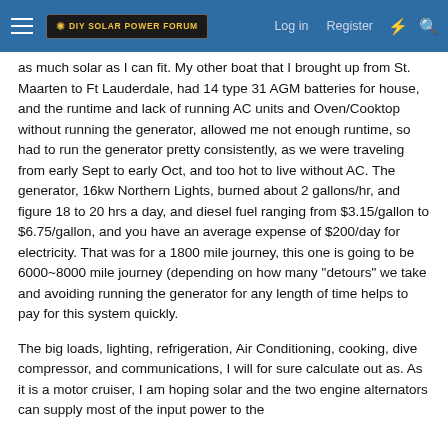DIY Solar Power Forum — Log in  Register
as much solar as I can fit. My other boat that I brought up from St. Maarten to Ft Lauderdale, had 14 type 31 AGM batteries for house, and the runtime and lack of running AC units and Oven/Cooktop without running the generator, allowed me not enough runtime, so had to run the generator pretty consistently, as we were traveling from early Sept to early Oct, and too hot to live without AC. The generator, 16kw Northern Lights, burned about 2 gallons/hr, and figure 18 to 20 hrs a day, and diesel fuel ranging from $3.15/gallon to $6.75/gallon, and you have an average expense of $200/day for electricity. That was for a 1800 mile journey, this one is going to be 6000~8000 mile journey (depending on how many "detours" we take and avoiding running the generator for any length of time helps to pay for this system quickly.
The big loads, lighting, refrigeration, Air Conditioning, cooking, dive compressor, and communications, I will for sure calculate out as. As it is a motor cruiser, I am hoping solar and the two engine alternators can supply most of the input power to the